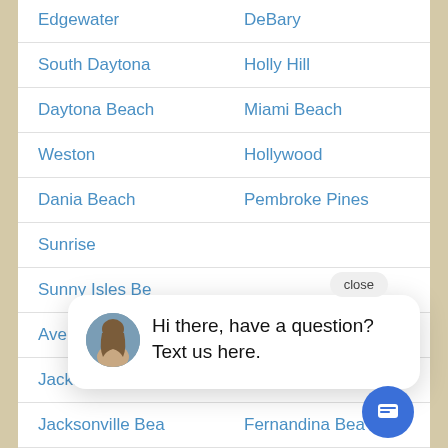| Edgewater | DeBary |
| South Daytona | Holly Hill |
| Daytona Beach | Miami Beach |
| Weston | Hollywood |
| Dania Beach | Pembroke Pines |
| Sunrise |  |
| Sunny Isles Be… |  |
| Aventura | Atlantic Beach |
| Jacksonville | Saint Augustine |
| Jacksonville Bea… | Fernandina Bea… |
[Figure (screenshot): Chat popup overlay with a close button, a circular avatar photo of a woman, and the text 'Hi there, have a question? Text us here.' with a blue chat icon button in the bottom right.]